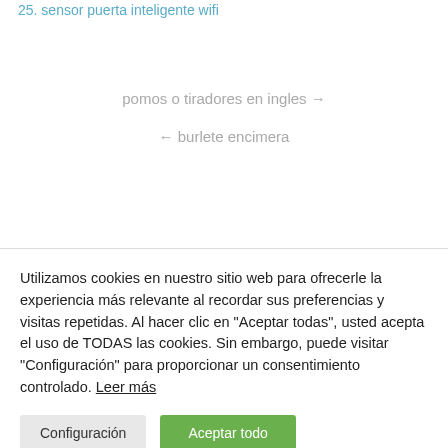25. sensor puerta inteligente wifi
pomos o tiradores en ingles →
← burlete encimera
Utilizamos cookies en nuestro sitio web para ofrecerle la experiencia más relevante al recordar sus preferencias y visitas repetidas. Al hacer clic en "Aceptar todas", usted acepta el uso de TODAS las cookies. Sin embargo, puede visitar "Configuración" para proporcionar un consentimiento controlado. Leer más
Configuración
Aceptar todo